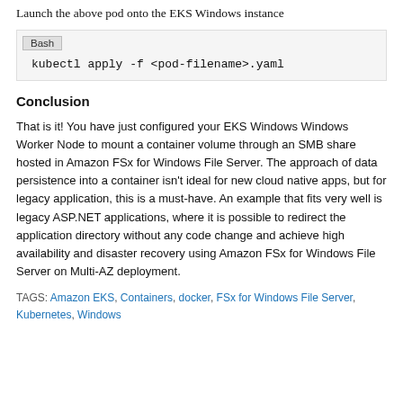Launch the above pod onto the EKS Windows instance
Bash
kubectl apply -f <pod-filename>.yaml
Conclusion
That is it! You have just configured your EKS Windows Windows Worker Node to mount a container volume through an SMB share hosted in Amazon FSx for Windows File Server. The approach of data persistence into a container isn't ideal for new cloud native apps, but for legacy application, this is a must-have. An example that fits very well is legacy ASP.NET applications, where it is possible to redirect the application directory without any code change and achieve high availability and disaster recovery using Amazon FSx for Windows File Server on Multi-AZ deployment.
TAGS: Amazon EKS, Containers, docker, FSx for Windows File Server, Kubernetes, Windows